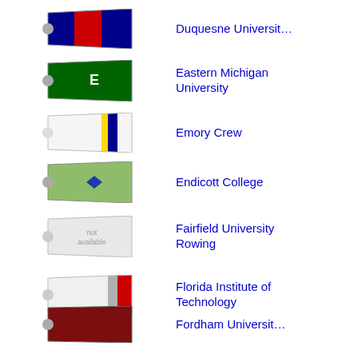[Figure (illustration): Rowing blade: navy blue left section, red center, navy blue right section]
Duquesne Universit…
[Figure (illustration): Rowing blade: solid dark green with white letter E]
Eastern Michigan University
[Figure (illustration): Rowing blade: white left, thin yellow stripe, dark navy stripe, white right]
Emory Crew
[Figure (illustration): Rowing blade: sage/olive green with blue diamond in center]
Endicott College
[Figure (illustration): Rowing blade: white/gray with 'not available' text]
Fairfield University Rowing
[Figure (illustration): Rowing blade: white with gray and red stripes on right]
Florida Institute of Technology
[Figure (illustration): Rowing blade: solid dark maroon/crimson]
Fordham Universit…
[Figure (illustration): Rowing blade: navy blue with F&M letters in white]
Franklin & Marsha… College